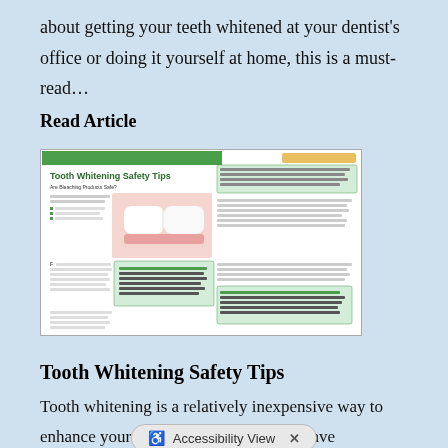about getting your teeth whitened at your dentist's office or doing it yourself at home, this is a must-read…
Read Article
[Figure (screenshot): Thumbnail image of a dental article titled 'Tooth Whitening Safety Tips' with text columns and a photo of a smiling mouth with white teeth.]
Tooth Whitening Safety Tips
Tooth whitening is a relatively inexpensive way to enhance your smile, and many studies have confirmed that tooth whitening products are safe when used as directed. Still, there are some things you need to know before you do that...